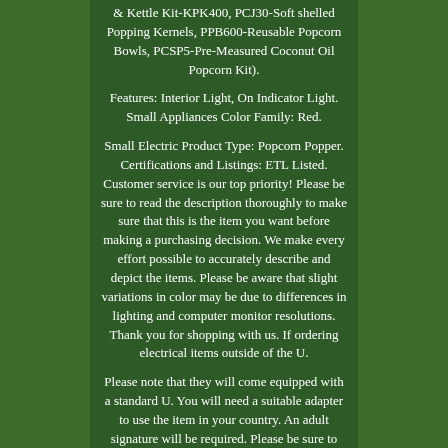& Kettle Kit-KPK400, PCJ30-Soft shelled Popping Kernels, PPB600-Reusable Popcorn Bowls, PCSP5-Pre-Measured Coconut Oil Popcorn Kit).
Features: Interior Light, On Indicator Light. Small Appliances Color Family: Red.
Small Electric Product Type: Popcorn Popper. Certifications and Listings: ETL Listed. Customer service is our top priority! Please be sure to read the description thoroughly to make sure that this is the item you want before making a purchasing decision. We make every effort possible to accurately describe and depict the items. Please be aware that slight variations in color may be due to differences in lighting and computer monitor resolutions. Thank you for shopping with us. If ordering electrical items outside of the U.
Please note that they will come equipped with a standard U. You will need a suitable adapter to use the item in your country. An adult signature will be required. Please be sure to have available help on hand to assist you with moving the item to the desired location in or outside of your home. In the case of factory defects we will replace the product for you